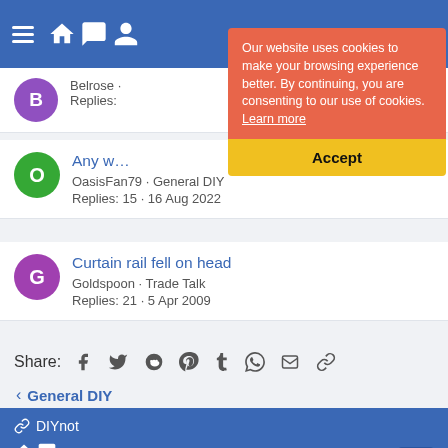DIYnot navigation bar
Our website uses cookies to make your browsing experience better. By continuing, you are consenting to our use of cookies. Learn more
Accept
Any w... OasisFan79 · General DIY Replies: 15 · 16 Aug 2022
Curtain rail fell on head Goldspoon · Trade Talk Replies: 21 · 5 Apr 2009
Share:
< General DIY
DIYnot | Contact us | Terms and rules | Privacy policy | Help | Home